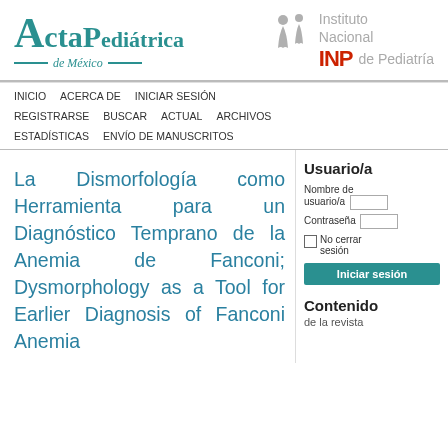[Figure (logo): Acta Pediátrica de México journal logo in teal/green color]
[Figure (logo): Instituto Nacional de Pediatría logo with stylized person icon and INP red text]
INICIO   ACERCA DE   INICIAR SESIÓN   REGISTRARSE   BUSCAR   ACTUAL   ARCHIVOS   ESTADÍSTICAS   ENVÍO DE MANUSCRITOS
La Dismorfología como Herramienta para un Diagnóstico Temprano de la Anemia de Fanconi; Dysmorphology as a Tool for Earlier Diagnosis of Fanconi Anemia
Usuario/a
Nombre de usuario/a
Contraseña
No cerrar sesión
Iniciar sesión
Contenido
de la revista